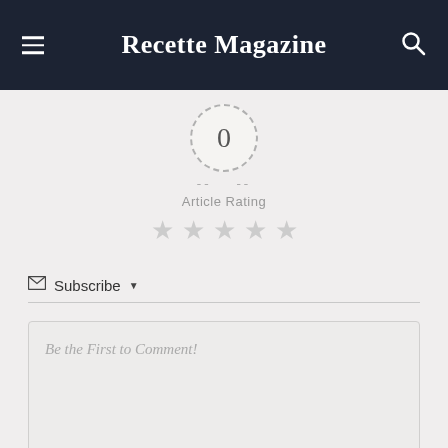Recette Magazine
[Figure (infographic): Article rating widget: dashed circle with '0' in center, dashes on either side, 'Article Rating' label below, five empty grey stars]
Subscribe ▼
Be the First to Comment!